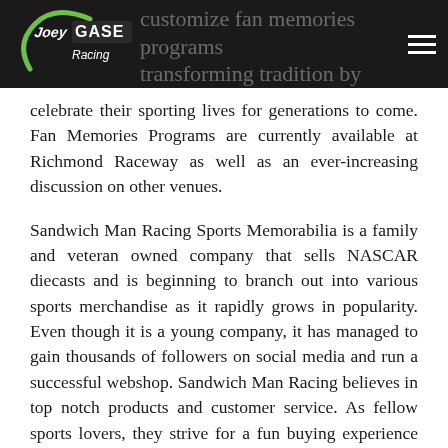Joey Gase Racing — customize fan memories programs transforming tradition by creating legacies for people to
celebrate their sporting lives for generations to come. Fan Memories Programs are currently available at Richmond Raceway as well as an ever-increasing discussion on other venues.
Sandwich Man Racing Sports Memorabilia is a family and veteran owned company that sells NASCAR diecasts and is beginning to branch out into various sports merchandise as it rapidly grows in popularity. Even though it is a young company, it has managed to gain thousands of followers on social media and run a successful webshop. Sandwich Man Racing believes in top notch products and customer service. As fellow sports lovers, they strive for a fun buying experience for everyone. Sandwich Man Racing is excited to team up with Joey Gase and offer fans discount code JGase500 for 15% off purchases over $60.